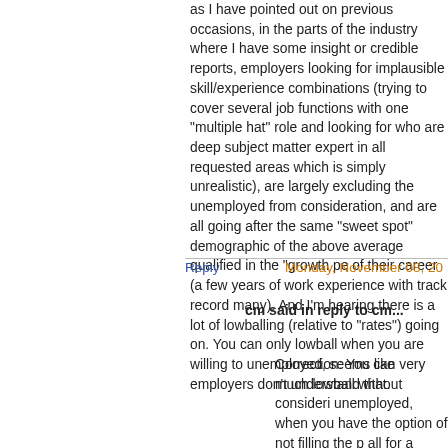as I have pointed out on previous occasions, in the parts of the industry where I have some insight or credible reports, employers looking for implausible skill/experience combinations (trying to cover several job functions with one "multiple hat" role and looking for who are deep subject matter expert in all requested areas which is simply unrealistic), are largely excluding the unemployed from consideration, and are all going after the same "sweet spot" demographic of the above average qualified in the "growth period" of their career (a few years of work experience with track record but not many). And I'm hearing there is a lot of lowballing (relative to "market rates") going on. You can only lowball when you are willing to exclude unemployed, seems like employers don't understand that.
Reply
Monday, November 08, 20...
cm said in reply to cm...
Correction: You can very much lowball without considering the unemployed, when you have the option of not filling the position at all for a while. But then one can question whether such a "discretionary" position is a real position. Certain positions requiring advanced skills are advertised on "job sites" like monster, dice, etc. that have been open in cases for years and which a...